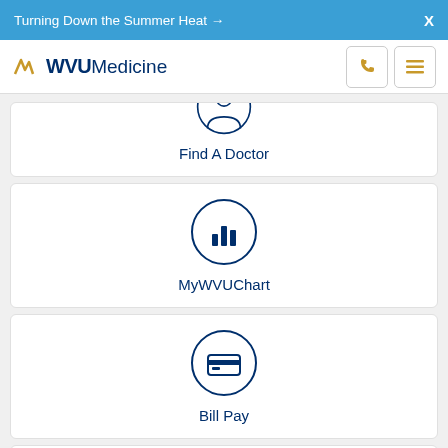Turning Down the Summer Heat → X
[Figure (logo): WVU Medicine logo with phone and hamburger menu icons]
[Figure (screenshot): Find A Doctor card with circular icon (partially clipped at top)]
[Figure (screenshot): MyWVUChart card with bar chart circle icon]
[Figure (screenshot): Bill Pay card with credit card circle icon]
Related Items